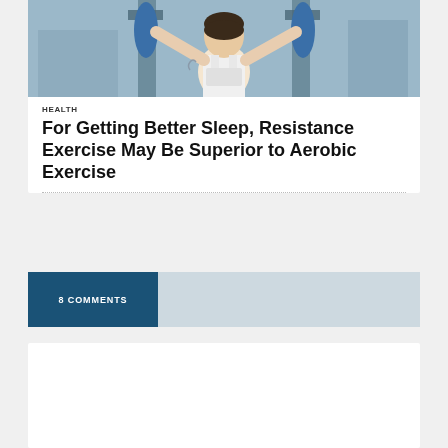[Figure (photo): Woman exercising on gym resistance machine, pulling down cable bars with blue padding]
HEALTH
For Getting Better Sleep, Resistance Exercise May Be Superior to Aerobic Exercise
8 COMMENTS
[Figure (logo): Green recycling arrows logo/icon on light green background]